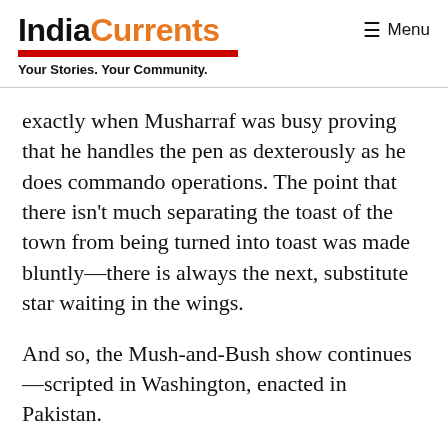IndiaCurrents — Your Stories. Your Community.
exactly when Musharraf was busy proving that he handles the pen as dexterously as he does commando operations. The point that there isn't much separating the toast of the town from being turned into toast was made bluntly—there is always the next, substitute star waiting in the wings.
And so, the Mush-and-Bush show continues—scripted in Washington, enacted in Pakistan.